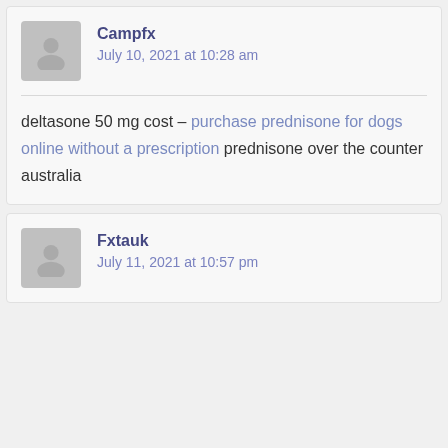Campfx
July 10, 2021 at 10:28 am
deltasone 50 mg cost – purchase prednisone for dogs online without a prescription prednisone over the counter australia
Fxtauk
July 11, 2021 at 10:57 pm